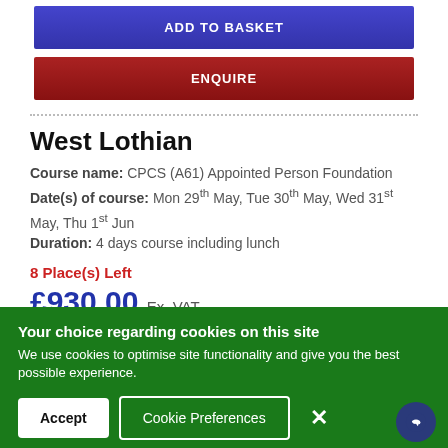ADD TO BASKET
ENQUIRE
West Lothian
Course name: CPCS (A61) Appointed Person Foundation
Date(s) of course: Mon 29th May, Tue 30th May, Wed 31st May, Thu 1st Jun
Duration: 4 days course including lunch
8 Place(s) Left
£930.00 Ex. VAT
ADD TO BASKET
Your choice regarding cookies on this site
We use cookies to optimise site functionality and give you the best possible experience.
Accept  Cookie Preferences  ×